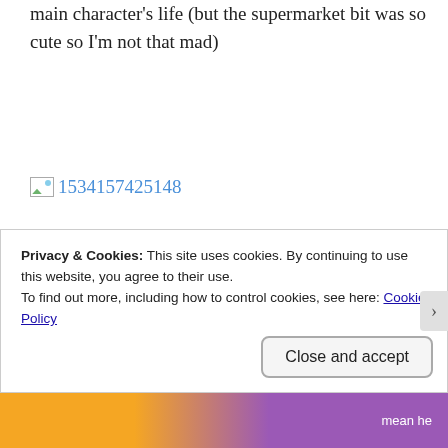main character's life (but the supermarket bit was so cute so I'm not that mad)
[Figure (other): Broken image placeholder with image ID 1534157425148]
And there we have it! I know this review was short as hell but I honestly don't have much more to say, my only feelings towards the characters was love and,
Privacy & Cookies: This site uses cookies. By continuing to use this website, you agree to their use.
To find out more, including how to control cookies, see here: Cookie Policy
Close and accept